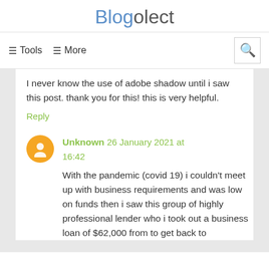Blogolect
≡ Tools  ≡ More
I never know the use of adobe shadow until i saw this post. thank you for this! this is very helpful.
Reply
Unknown  26 January 2021 at 16:42
With the pandemic (covid 19) i couldn't meet up with business requirements and was low on funds then i saw this group of highly professional lender who i took out a business loan of $62,000 from to get back to